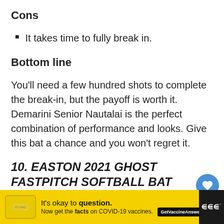Cons
It takes time to fully break in.
Bottom line
You’ll need a few hundred shots to complete the break-in, but the payoff is worth it. Demarini Senior Nautalai is the perfect combination of performance and looks. Give this bat a chance and you won’t regret it.
10. EASTON 2021 GHOST FASTPITCH SOFTBALL BAT
Pro